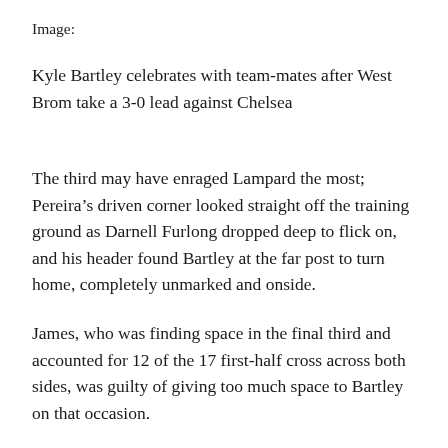Image:
Kyle Bartley celebrates with team-mates after West Brom take a 3-0 lead against Chelsea
The third may have enraged Lampard the most; Pereira’s driven corner looked straight off the training ground as Darnell Furlong dropped deep to flick on, and his header found Bartley at the far post to turn home, completely unmarked and onside.
James, who was finding space in the final third and accounted for 12 of the 17 first-half cross across both sides, was guilty of giving too much space to Bartley on that occasion.